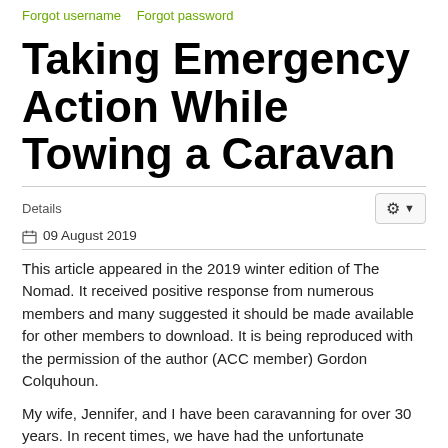Forgot username   Forgot password
Taking Emergency Action While Towing a Caravan
Details
09 August 2019
This article appeared in the 2019 winter edition of The Nomad. It received positive response from numerous members and many suggested it should be made available for other members to download. It is being reproduced with the permission of the author (ACC member) Gordon Colquhoun.
My wife, Jennifer, and I have been caravanning for over 30 years. In recent times, we have had the unfortunate experience of